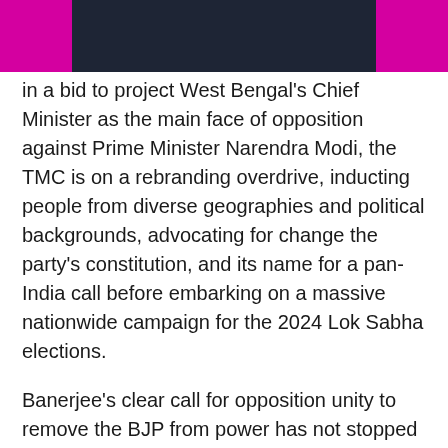in a bid to project West Bengal's Chief Minister as the main face of opposition against Prime Minister Narendra Modi, the TMC is on a rebranding overdrive, inducting people from diverse geographies and political backgrounds, advocating for change the party's constitution, and its name for a pan-India call before embarking on a massive nationwide campaign for the 2024 Lok Sabha elections.
Banerjee's clear call for opposition unity to remove the BJP from power has not stopped her from expanding her centre-left party in various states. In the past six months, his party has opened units in Goa, Haryana, Tripura and Meghalaya.
The party, which had little significant existence in Meghalaya, became the main opposition party in the northeastern state after 12 out of 17 Congress MPs led by former Chief Minister Mukul Sangma joined the TMC.